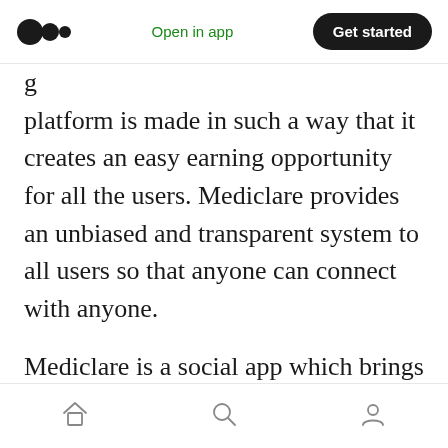Open in app | Get started
platform is made in such a way that it creates an easy earning opportunity for all the users. Mediclare provides an unbiased and transparent system to all users so that anyone can connect with anyone.
Mediclare is a social app which brings all the Social, Medical and Emergency needs to one single platform. We have the vision to create a place where, as soon as a job requirement is posted it must be reached to the people who are looking for it. Currently, we are working
Home | Search | Profile